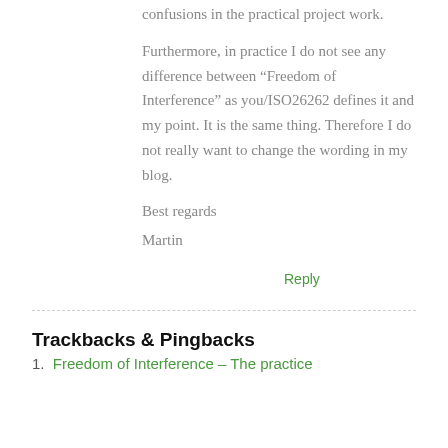confusions in the practical project work.
Furthermore, in practice I do not see any difference between “Freedom of Interference” as you/ISO26262 defines it and my point. It is the same thing. Therefore I do not really want to change the wording in my blog.
Best regards
Martin
Reply
Trackbacks & Pingbacks
1. Freedom of Interference – The practice